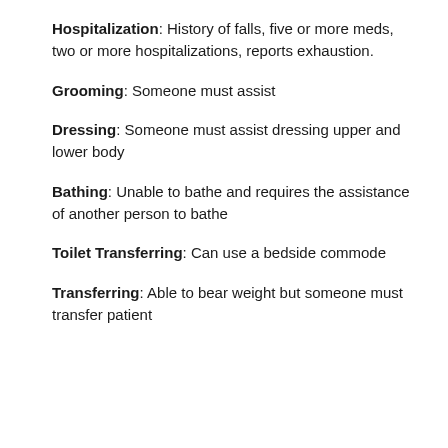Hospitalization: History of falls, five or more meds, two or more hospitalizations, reports exhaustion.
Grooming: Someone must assist
Dressing: Someone must assist dressing upper and lower body
Bathing: Unable to bathe and requires the assistance of another person to bathe
Toilet Transferring: Can use a bedside commode
Transferring: Able to bear weight but someone must transfer patient